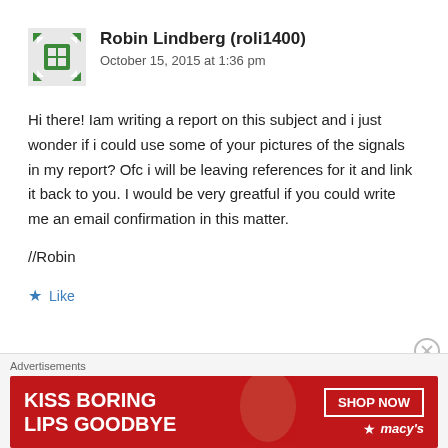[Figure (illustration): Green decorative avatar icon with geometric pattern]
Robin Lindberg (roli1400)
October 15, 2015 at 1:36 pm
Hi there! Iam writing a report on this subject and i just wonder if i could use some of your pictures of the signals in my report? Ofc i will be leaving references for it and link it back to you. I would be very greatful if you could write me an email confirmation in this matter.
//Robin
Like
Advertisements
[Figure (illustration): Macy's advertisement banner: KISS BORING LIPS GOODBYE with SHOP NOW button and Macy's star logo on red background]